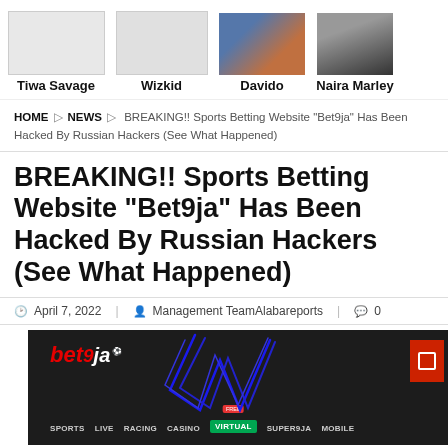[Figure (illustration): Top navigation area showing celebrity thumbnails: Tiwa Savage, Wizkid, Davido, Naira Marley with names below their photos]
HOME ▷ NEWS ▷ BREAKING!! Sports Betting Website “Bet9ja” Has Been Hacked By Russian Hackers (See What Happened)
BREAKING!! Sports Betting Website “Bet9ja” Has Been Hacked By Russian Hackers (See What Happened)
April 7, 2022   Management TeamAlabareports   0
[Figure (screenshot): Screenshot of the Bet9ja sports betting website showing the homepage with navigation menu (SPORTS, LIVE, RACING, CASINO, VIRTUAL, SUPER9JA, MOBILE) overlaid with blue hacker scribble lines]